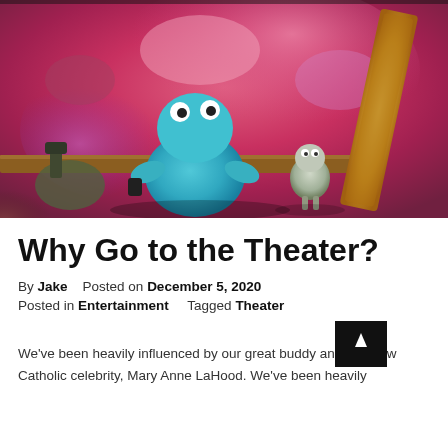[Figure (photo): A clay animation scene showing a blue creature viewed from behind, sitting in front of colorful abstract background with pinks, reds, and purples. A smaller grey creature is to the right. A golden picture frame is visible on the right edge.]
Why Go to the Theater?
By Jake   Posted on December 5, 2020
Posted in Entertainment   Tagged Theater
We've been heavily influenced by our great buddy and Catholic celebrity, Mary Anne LaHood. We've been heavily